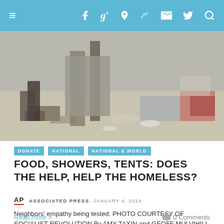≡  f  g+  p  RSS  Twitter  Search
[Figure (photo): Outdoor scene showing a tent or pole structure and scattered items on a concrete surface, related to homeless encampment]
DONATE
NATIONAL
NATIONAL & WORLD
FOOD, SHOWERS, TENTS: DOES THE HELP, HELP THE HOMELESS?
AP  ASSOCIATED PRESS. JANUARY 4, 2018
Neighbors' empathy being tested. PHOTO COURTESY OF SOCIALIST REVOLUTION By AMY TAXIN and GEOFF MULVIHILL Associated Press ANAHEIM, Calif. (AP) – Mohammed Aly does not ...
Read more >
0 Comments